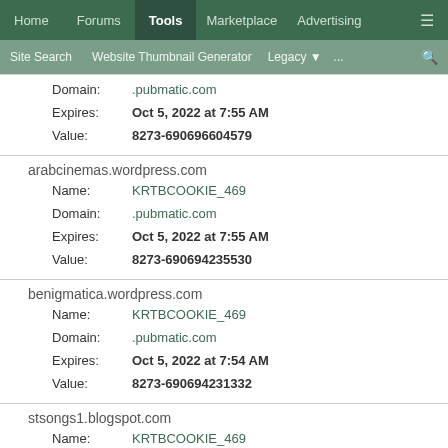Home | Forums | Tools | Marketplace | Advertising | ☰
Site Search | Website Thumbnail Generator | Legacy ▼ | ... | 🔍
Domain: .pubmatic.com
Expires: Oct 5, 2022 at 7:55 AM
Value: 8273-690696604579
arabcinemas.wordpress.com
Name: KRTBCOOKIE_469
Domain: .pubmatic.com
Expires: Oct 5, 2022 at 7:55 AM
Value: 8273-690694235530
benigmatica.wordpress.com
Name: KRTBCOOKIE_469
Domain: .pubmatic.com
Expires: Oct 5, 2022 at 7:54 AM
Value: 8273-690694231332
stsongs1.blogspot.com
Name: KRTBCOOKIE_469
Domain: .pubmatic.com
Expires: Oct 5, 2022 at 7:54 AM
Value: 8273-690693799909